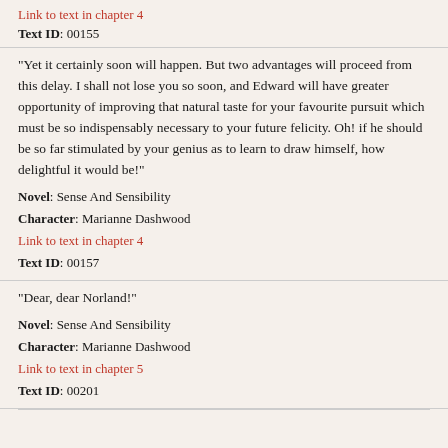Link to text in chapter 4
Text ID: 00155
"Yet it certainly soon will happen. But two advantages will proceed from this delay. I shall not lose you so soon, and Edward will have greater opportunity of improving that natural taste for your favourite pursuit which must be so indispensably necessary to your future felicity. Oh! if he should be so far stimulated by your genius as to learn to draw himself, how delightful it would be!"
Novel: Sense And Sensibility
Character: Marianne Dashwood
Link to text in chapter 4
Text ID: 00157
"Dear, dear Norland!"
Novel: Sense And Sensibility
Character: Marianne Dashwood
Link to text in chapter 5
Text ID: 00201